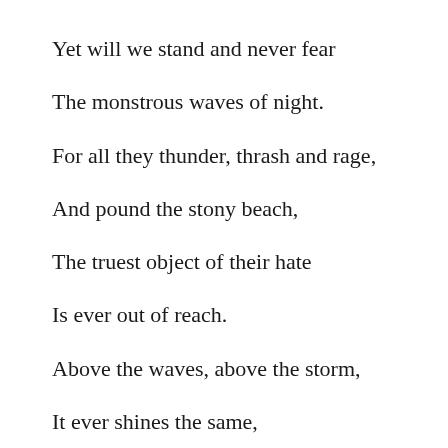Yet will we stand and never fear
The monstrous waves of night.
For all they thunder, thrash and rage,
And pound the stony beach,
The truest object of their hate
Is ever out of reach.
Above the waves, above the storm,
It ever shines the same,